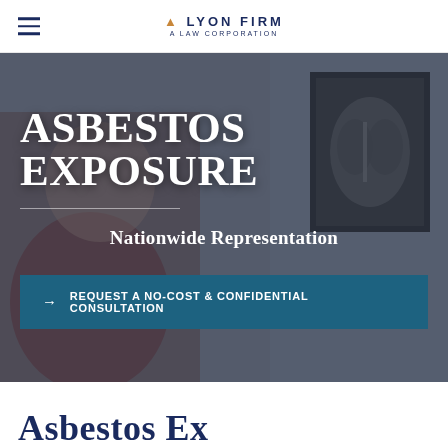LYON FIRM A LAW CORPORATION
[Figure (photo): Hero image showing an elderly patient consulting with a medical professional, with a chest X-ray visible on a monitor in the background. The image has a dark overlay. Text overlaid reads 'ASBESTOS EXPOSURE', 'Nationwide Representation', and a call-to-action button.]
ASBESTOS EXPOSURE
Nationwide Representation
→ REQUEST A NO-COST & CONFIDENTIAL CONSULTATION
Asbestos Ex